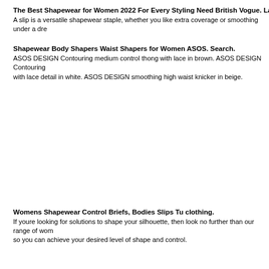The Best Shapewear for Women 2022 For Every Styling Need British Vogue. LargeChevro
A slip is a versatile shapewear staple, whether you like extra coverage or smoothing under a dre
Shapewear Body Shapers Waist Shapers for Women ASOS. Search.
ASOS DESIGN Contouring medium control thong with lace in brown. ASOS DESIGN Contouring with lace detail in white. ASOS DESIGN smoothing high waist knicker in beige.
Womens Shapewear Control Briefs, Bodies Slips Tu clothing.
If youre looking for solutions to shape your silhouette, then look no further than our range of wom so you can achieve your desired level of shape and control.